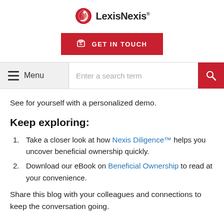[Figure (logo): LexisNexis logo with red bird icon and bold LexisNexis wordmark]
[Figure (other): Red GET IN TOUCH button with clipboard icon]
[Figure (other): Navigation bar with hamburger Menu and search field with red search button]
See for yourself with a personalized demo.
Keep exploring:
Take a closer look at how Nexis Diligence™ helps you uncover beneficial ownership quickly.
Download our eBook on Beneficial Ownership to read at your convenience.
Share this blog with your colleagues and connections to keep the conversation going.